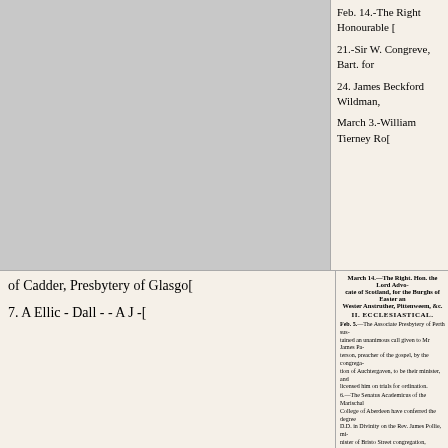Feb. 14.-The Right Honourable [truncated]
21.-Sir W. Congreve, Bart. for [truncated]
24. James Beckford Wildman, [truncated]
March 3.-William Tierney Ro[truncated]
March 14.—The Right. Hon. the Lord Advocate of Scotland, for the Burghs of Easter and Wester Anstruther, Pittenweem, &c.
II. ECCLESIASTICAL.
Feb. 5.—The Associate Presbytery of Perth sustained an unanimous call given to Mr James Patterson, preacher of the gospel, by the congregation of Auchtergaven, to be their minister, and licensed him on trials for ordination.
6.—The Senatus Academicus of the Marischal College of Aberdeen have conferred the degree D.D. in Divinity on the Rev. James Pollie, minister of Bristo Street congregation, Edinburgh.
14.—Rev. W. Aldrich to the Rectory of Huttlesham, Suffolk.
Rev. John Wickens to the Rectory of Manston, Dorset.
Rev. Gen. Walker to the Rectory of Papworth Everard, Cambridgeshire.
Rev. W. J. Kerrick, to the Rectory of Paulerspury, Northamptonshire.
Rev. Charles Carr to the Rectory of Burnsall, Yorkshire.
19.—Dr Anderson, physician in Glasgow, has presented the Rev. Robert Cameron to the parish of Kilmalcolm, vacant by the death of the Rev. John Brown.
21.—Messrs Thomas Douglas and Charles Baker of Glasgow, in virtue of a commission received from their friends in Demerara, have nominated and appointed the Rev. Archibald Brown to be minister of the Scotch Church lately erected in that colony, which we understand is to be liberally endowed.
Rev. J. W. Morgan to the Rectory of St Giles, Colchester.
26.—The Presbytery of Edinburgh appointed the Rev. James Brown, Licentiate, to the New Presbyterian Church at Kingston, Jamaica.
28.—Rev. Geo. Rennell to the Rectory of Grashead, Northumberland.
of Cadder, Presbytery of Glasgow
[bottom line truncated]